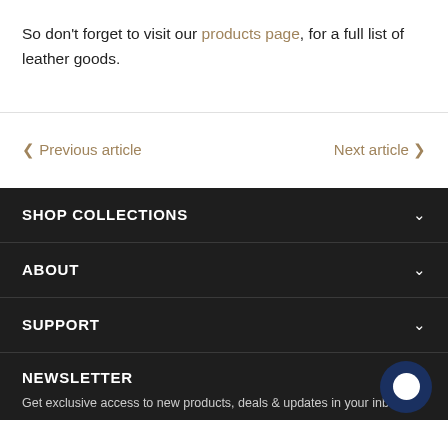So don't forget to visit our products page, for a full list of leather goods.
< Previous article
Next article >
SHOP COLLECTIONS
ABOUT
SUPPORT
NEWSLETTER
Get exclusive access to new products, deals & updates in your inbox.